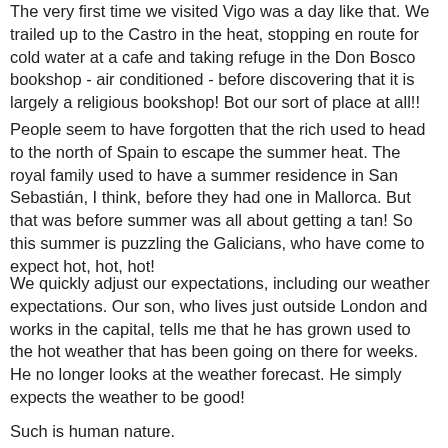The very first time we visited Vigo was a day like that. We trailed up to the Castro in the heat, stopping en route for cold water at a cafe and taking refuge in the Don Bosco bookshop - air conditioned - before discovering that it is largely a religious bookshop! Bot our sort of place at all!!
People seem to have forgotten that the rich used to head to the north of Spain to escape the summer heat. The royal family used to have a summer residence in San Sebastián, I think, before they had one in Mallorca. But that was before summer was all about getting a tan! So this summer is puzzling the Galicians, who have come to expect hot, hot, hot!
We quickly adjust our expectations, including our weather expectations. Our son, who lives just outside London and works in the capital, tells me that he has grown used to the hot weather that has been going on there for weeks. He no longer looks at the weather forecast. He simply expects the weather to be good!
Such is human nature.